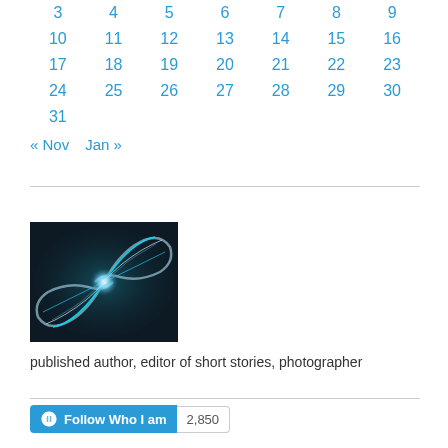| 3 | 4 | 5 | 6 | 7 | 8 | 9 |
| 10 | 11 | 12 | 13 | 14 | 15 | 16 |
| 17 | 18 | 19 | 20 | 21 | 22 | 23 |
| 24 | 25 | 26 | 27 | 28 | 29 | 30 |
| 31 |  |  |  |  |  |  |
« Nov    Jan »
[Figure (photo): Abstract fractal art image with swirling teal and silver spiral shapes on a dark background]
published author, editor of short stories, photographer
Follow Who I am   2,850